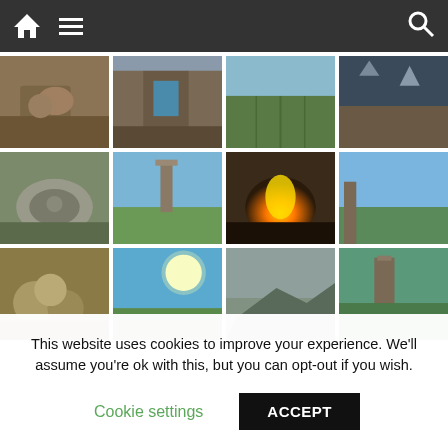Navigation bar with home, menu, and search icons
[Figure (photo): Grid of travel/nature photographs showing ruins, vineyards, stone architecture, a millstone, a church tower, a bonfire, stonewalls, mushrooms, sunny landscape, misty mountains, and a stone tower]
This website uses cookies to improve your experience. We'll assume you're ok with this, but you can opt-out if you wish.
Cookie settings  ACCEPT